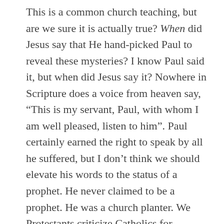This is a common church teaching, but are we sure it is actually true? When did Jesus say that He hand-picked Paul to reveal these mysteries? I know Paul said it, but when did Jesus say it? Nowhere in Scripture does a voice from heaven say, “This is my servant, Paul, with whom I am well pleased, listen to him”. Paul certainly earned the right to speak by all he suffered, but I don’t think we should elevate his words to the status of a prophet. He never claimed to be a prophet. He was a church planter. We Protestants criticize Catholics for ascribing inerrancy to their Popes and yet we do the same with Paul. As you